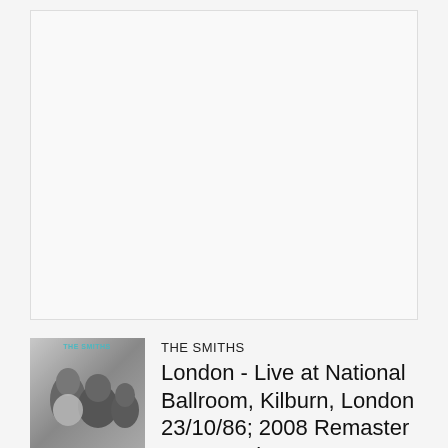[Figure (other): Empty light gray video/media placeholder box with thin border]
[Figure (photo): Small album art thumbnail for The Smiths showing black and white photo of band members]
THE SMITHS
London - Live at National Ballroom, Kilburn, London 23/10/86; 2008 Remaster BBC Version